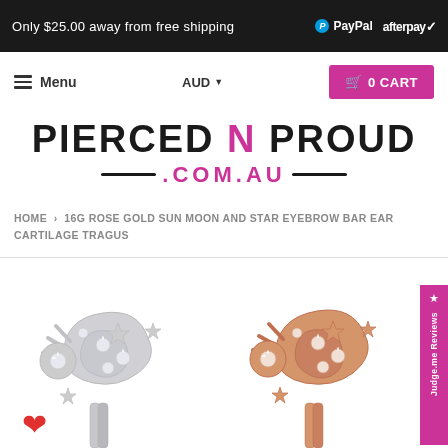Only $25.00 away from free shipping | PayPal | afterpay
Menu | AUD | 0 CART
PIERCED N PROUD .COM.AU
HOME › 16G ROSE GOLD SUN MOON AND STAR EYEBROW BAR EAR CARTILAGE TRAGUS
[Figure (photo): Two sun moon and star eyebrow bar ear cartilage tragus jewelry pieces — one in silver/steel (left) and one in rose gold (right), each featuring sun rays, crescent moon and star shapes with crystal/rhinestone accents. A red heart icon is visible at the lower left.]